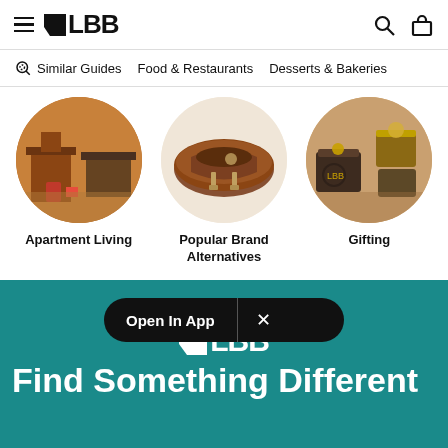LBB
Similar Guides   Food & Restaurants   Desserts & Bakeries
[Figure (photo): Three circular images showing: Apartment Living (wooden furniture), Popular Brand Alternatives (leather shoes), Gifting (gift boxes and candles)]
Apartment Living
Popular Brand Alternatives
Gifting
[Figure (screenshot): Open In App banner with close button on teal background]
Open In App
Find Something Different